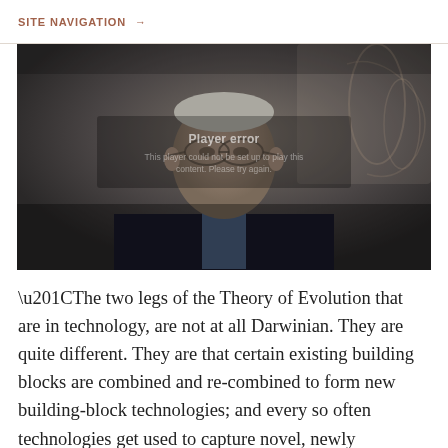SITE NAVIGATION →
[Figure (photo): Video player with error message showing an elderly man's face in a dark overlay. Text reads 'Player error' and 'This player could not be set up to play this content. Please try again.']
“The two legs of the Theory of Evolution that are in technology, are not at all Darwinian. They are quite different. They are that certain existing building blocks are combined and re-combined to form new building-block technologies; and every so often technologies get used to capture novel, newly discovered phenomena, and encapsulate those and get further building blocks. As with Darwinian, as to technology, in that...